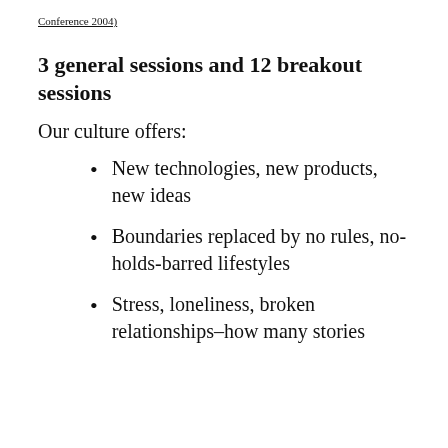Conference 2004)
3 general sessions and 12 breakout sessions
Our culture offers:
New technologies, new products, new ideas
Boundaries replaced by no rules, no-holds-barred lifestyles
Stress, loneliness, broken relationships–how many stories